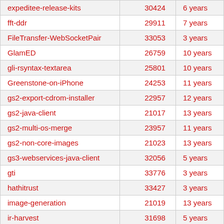| Name | Number | Age |
| --- | --- | --- |
| expeditee-release-kits | 30424 | 6 years |
| fft-ddr | 29911 | 7 years |
| FileTransfer-WebSocketPair | 33053 | 3 years |
| GlamED | 26759 | 10 years |
| gli-rsyntax-textarea | 25801 | 10 years |
| Greenstone-on-iPhone | 24253 | 11 years |
| gs2-export-cdrom-installer | 22957 | 12 years |
| gs2-java-client | 21017 | 13 years |
| gs2-multi-os-merge | 23957 | 11 years |
| gs2-non-core-images | 21023 | 13 years |
| gs3-webservices-java-client | 32056 | 5 years |
| gti | 33776 | 3 years |
| hathitrust | 33427 | 3 years |
| image-generation | 21019 | 13 years |
| ir-harvest | 31698 | 5 years |
| is-sheet-music-encore | 33589 | 3 years |